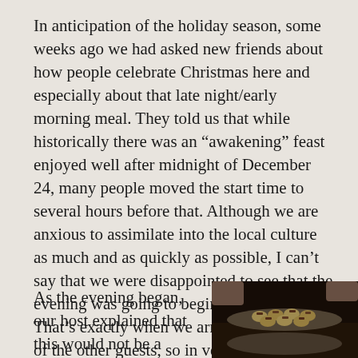In anticipation of the holiday season, some weeks ago we had asked new friends about how people celebrate Christmas here and especially about that late night/early morning meal. They told us that while historically there was an “awakening” feast enjoyed well after midnight of December 24, many people moved the start time to several hours before that. Although we are anxious to assimilate into the local culture as much and as quickly as possible, I can’t say that we were disappointed to see that the evening was going to begin at 8:00 PM. That’s exactly when we arrived, as did most of the other guests, so in very short order the party had started.
As the evening began, our host explained that this would not be a
[Figure (photo): A dimly lit photograph of a plate of food being served, showing small round items (possibly stuffed mushrooms or similar appetizers) topped with chopped toppings on a round platter, with another dish partially visible below, held by someone's hands in a dark restaurant or party setting.]